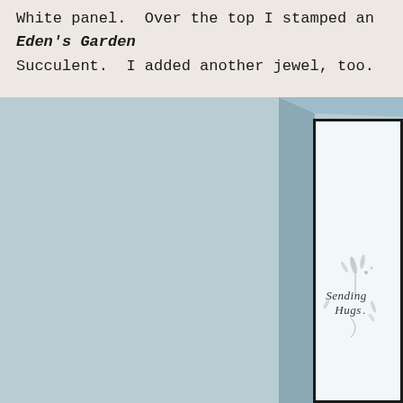White panel. Over the top I stamped an Eden's Garden Succulent. I added another jewel, too.
[Figure (photo): Close-up photograph of a handmade greeting card with a light blue/grey cardstock layer and a white inner panel with a dark border. In the lower right area of the white panel, a 'Sending Hugs' stamp is visible with decorative botanical elements in grey ink.]